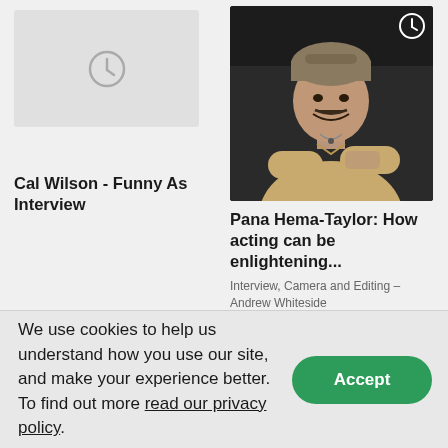[Figure (screenshot): Placeholder thumbnail with clock icon for Cal Wilson Funny As Interview video]
[Figure (photo): Photo of Pana Hema-Taylor smiling with arms crossed, wearing a tan shirt and backwards cap, with a clock icon overlay]
Cal Wilson - Funny As Interview
Pana Hema-Taylor: How acting can be enlightening...
Interview, Camera and Editing – Andrew Whiteside
We use cookies to help us understand how you use our site, and make your experience better. To find out more read our privacy policy.